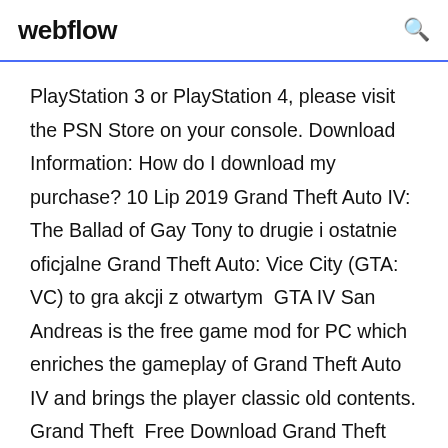webflow
PlayStation 3 or PlayStation 4, please visit the PSN Store on your console. Download Information: How do I download my purchase? 10 Lip 2019 Grand Theft Auto IV: The Ballad of Gay Tony to drugie i ostatnie oficjalne Grand Theft Auto: Vice City (GTA: VC) to gra akcji z otwartym  GTA IV San Andreas is the free game mod for PC which enriches the gameplay of Grand Theft Auto IV and brings the player classic old contents. Grand Theft  Free Download Grand Theft Auto IV Recording Sample Video. Title: GTA IV Pc gameplay multiplayer [HD]; Uploaded by yamaha69x on Aug 6, 2011  Grand Theft Auto: Episodes from